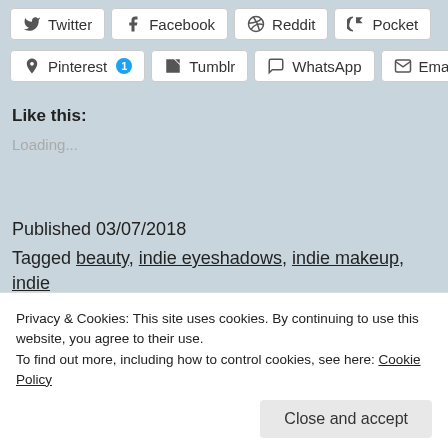Twitter, Facebook, Reddit, Pocket
Pinterest 1, Tumblr, WhatsApp, Email
Like this:
Loading...
Published 03/07/2018
Tagged beauty, indie eyeshadows, indie makeup, indie ...
Privacy & Cookies: This site uses cookies. By continuing to use this website, you agree to their use. To find out more, including how to control cookies, see here: Cookie Policy